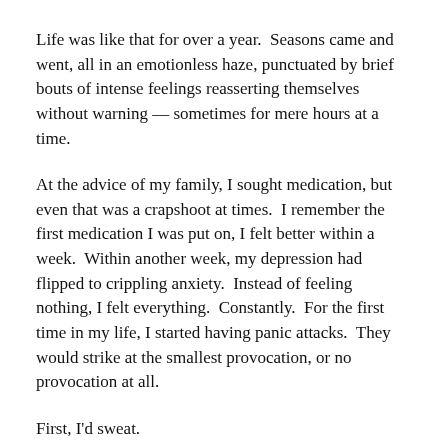Life was like that for over a year.  Seasons came and went, all in an emotionless haze, punctuated by brief bouts of intense feelings reasserting themselves without warning — sometimes for mere hours at a time.
At the advice of my family, I sought medication, but even that was a crapshoot at times.  I remember the first medication I was put on, I felt better within a week.  Within another week, my depression had flipped to crippling anxiety.  Instead of feeling nothing, I felt everything.  Constantly.  For the first time in my life, I started having panic attacks.  They would strike at the smallest provocation, or no provocation at all.
First, I'd sweat.